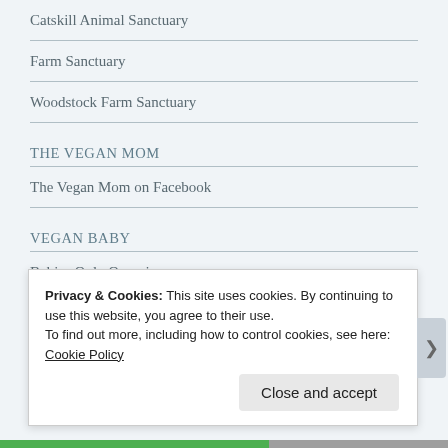Catskill Animal Sanctuary
Farm Sanctuary
Woodstock Farm Sanctuary
THE VEGAN MOM
The Vegan Mom on Facebook
VEGAN BABY
Babies Only Organics
VEGAN FOOD
Privacy & Cookies: This site uses cookies. By continuing to use this website, you agree to their use.
To find out more, including how to control cookies, see here: Cookie Policy
Close and accept